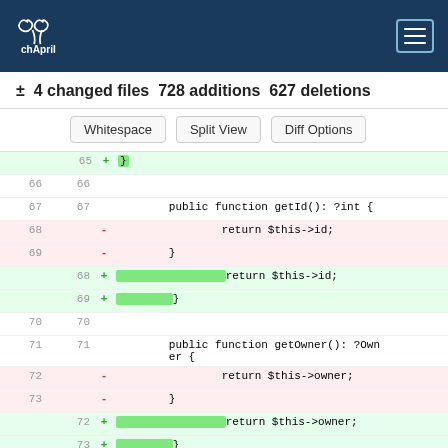chApril
± 4 changed files 728 additions 627 deletions
Whitespace | Split View | Diff Options
Code diff showing lines 65-75 with added/removed lines for PHP functions getId(), getOwner(), setOwner()